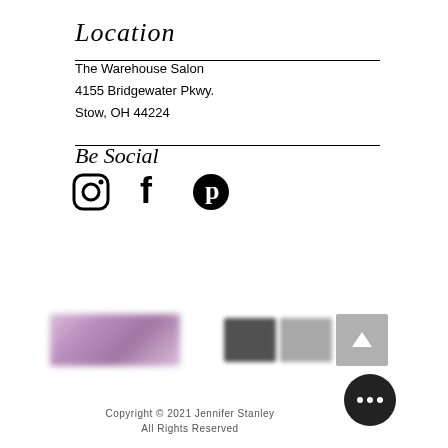Location
The Warehouse Salon
4155 Bridgewater Pkwy.
Stow, OH 44224
Be Social
[Figure (illustration): Social media icons: Instagram, Facebook, and Pinterest]
[Figure (illustration): Blurred footer images including a purple logo and dark/gray images, plus a back-to-top arrow button]
Copyright © 2021 Jennifer Stanley
All Rights Reserved